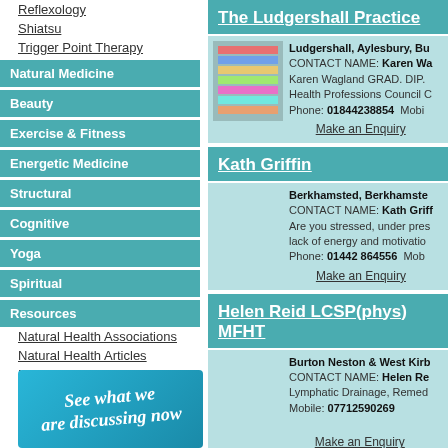Reflexology
Shiatsu
Trigger Point Therapy
Natural Medicine
Beauty
Exercise & Fitness
Energetic Medicine
Structural
Cognitive
Yoga
Spiritual
Resources
Natural Health Associations
Natural Health Articles
Natural Health Glossary
Other Links
Link to Us
[Figure (illustration): See what we are discussing now promo banner]
The Ludgershall Practice
Ludgershall, Aylesbury, Bu... CONTACT NAME: Karen Wa... Karen Wagland GRAD. DIP... Health Professions Council C... Phone: 01844238854 Mobi...
Make an Enquiry
Kath Griffin
Berkhamsted, Berkhamste... CONTACT NAME: Kath Griff... Are you stressed, under pres... lack of energy and motivatio... Phone: 01442 864556 Mob...
Make an Enquiry
Helen Reid LCSP(phys) MFHT
Burton Neston & West Kirb... CONTACT NAME: Helen Re... Lymphatic Drainage, Remed... Mobile: 07712590269
Make an Enquiry